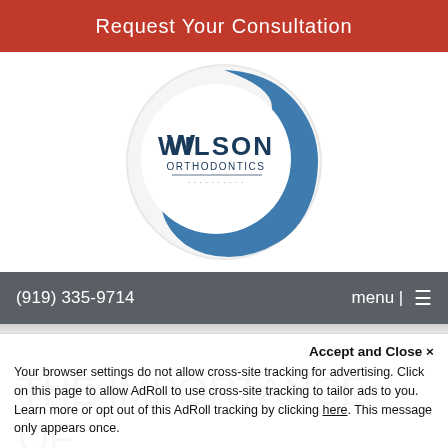Request Your Consultation
[Figure (logo): Wilson Orthodontics circular logo with blue swoosh and text 'WILSON ORTHODONTICS' in dark blue on white circular badge]
(919) 335-9714  menu |≡
THE IMPORTANCE OF WEARING YOUR MOUTH
Accept and Close ✕
Your browser settings do not allow cross-site tracking for advertising. Click on this page to allow AdRoll to use cross-site tracking to tailor ads to you. Learn more or opt out of this AdRoll tracking by clicking here. This message only appears once.